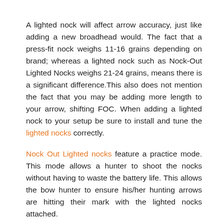A lighted nock will affect arrow accuracy, just like adding a new broadhead would. The fact that a press-fit nock weighs 11-16 grains depending on brand; whereas a lighted nock such as Nock-Out Lighted Nocks weighs 21-24 grains, means there is a significant difference.This also does not mention the fact that you may be adding more length to your arrow, shifting FOC. When adding a lighted nock to your setup be sure to install and tune the lighted nocks correctly.
Nock Out Lighted nocks feature a practice mode. This mode allows a hunter to shoot the nocks without having to waste the battery life. This allows the bow hunter to ensure his/her hunting arrows are hitting their mark with the lighted nocks attached.